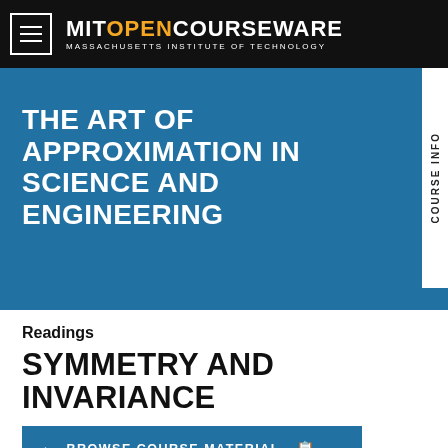MIT OPENCOURSEWARE MASSACHUSETTS INSTITUTE OF TECHNOLOGY
THE ART OF APPROXIMATION IN SCIENCE AND ENGINEERING
Readings
SYMMETRY AND INVARIANCE
← BROWSE COURSE MATERIAL
Chapter excerpted from the course